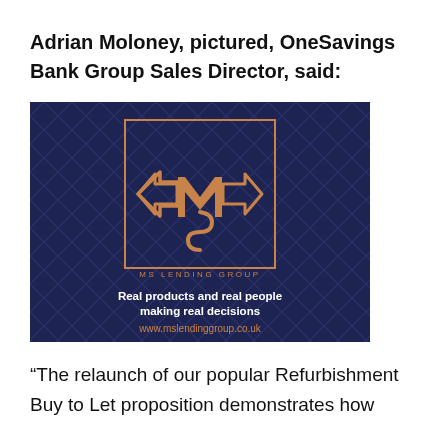Adrian Moloney, pictured, OneSavings Bank Group Sales Director, said:
[Figure (logo): MS Lending Group logo on dark navy background with diamond/arrow geometric monogram, tagline 'Real products and real people making real decisions', and website www.mslendinggroup.co.uk]
“The relaunch of our popular Refurbishment Buy to Let proposition demonstrates how